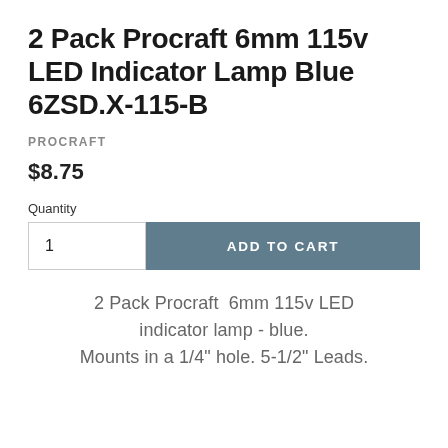2 Pack Procraft 6mm 115v LED Indicator Lamp Blue 6ZSD.X-115-B
PROCRAFT
$8.75
Quantity
1
ADD TO CART
2 Pack Procraft  6mm 115v LED indicator lamp - blue. Mounts in a 1/4" hole. 5-1/2" Leads.